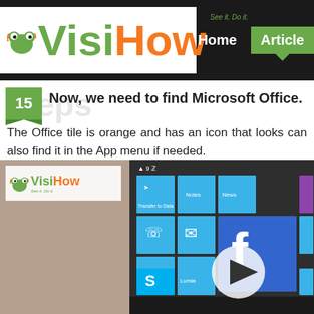[Figure (logo): VisiHow logo with frog mascot and tagline 'See it. Do it.']
Home   Articles
15. Now, we need to find Microsoft Office. The Office tile is orange and has an icon that looks like... can also find it in the App menu if needed.
[Figure (screenshot): Video thumbnail showing VisiHow watermark on left and a Windows Phone screen with app tiles on right, including Facebook, Skype, IE, and other tiles. A play button is overlaid on the video.]